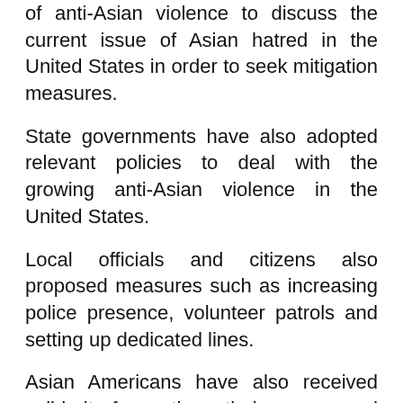of anti-Asian violence to discuss the current issue of Asian hatred in the United States in order to seek mitigation measures.
State governments have also adopted relevant policies to deal with the growing anti-Asian violence in the United States.
Local officials and citizens also proposed measures such as increasing police presence, volunteer patrols and setting up dedicated lines.
Asian Americans have also received solidarity from other ethnic groups and organizations in their struggle to resist the Asian-Asian incident and defend their rights.